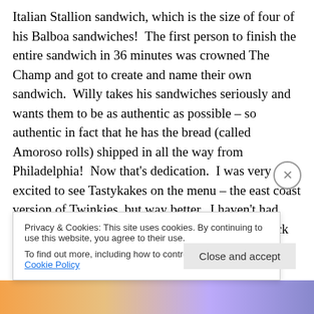Italian Stallion sandwich, which is the size of four of his Balboa sandwiches!  The first person to finish the entire sandwich in 36 minutes was crowned The Champ and got to create and name their own sandwich.  Willy takes his sandwiches seriously and wants them to be as authentic as possible – so authentic in fact that he has the bread (called Amoroso rolls) shipped in all the way from Philadelphia!  Now that's dedication.  I was very excited to see Tastykakes on the menu – the east coast version of Twinkies, but way better.  I haven't had those since I was a kid!  So I will definitely be back to this trailer, with my
Privacy & Cookies: This site uses cookies. By continuing to use this website, you agree to their use.
To find out more, including how to control cookies, see here: Cookie Policy